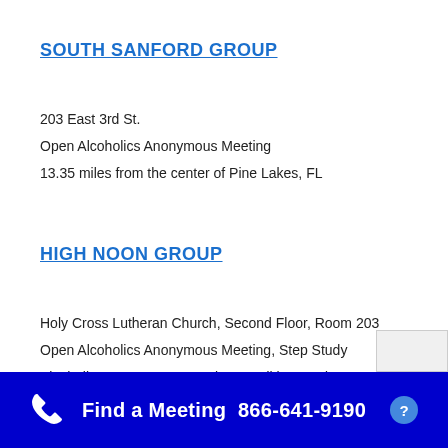SOUTH SANFORD GROUP
203 East 3rd St.
Open Alcoholics Anonymous Meeting
13.35 miles from the center of Pine Lakes, FL
HIGH NOON GROUP
Holy Cross Lutheran Church, Second Floor, Room 203
Open Alcoholics Anonymous Meeting, Step Study
Alcoholics Anonymous Meeting, Tradition Study, Wheelchair Access
Find a Meeting  866-641-9190